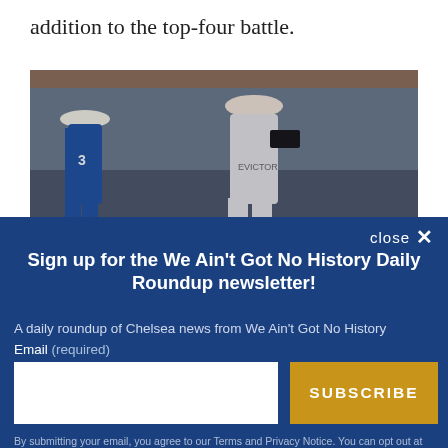addition to the top-four battle.
[Figure (photo): Two football players during a match — one in a blue Chelsea kit and one in a white Fulham kit — captured in action on the pitch.]
Sign up for the We Ain't Got No History Daily Roundup newsletter!
A daily roundup of Chelsea news from We Ain't Got No History
Email (required)
SUBSCRIBE
By submitting your email, you agree to our Terms and Privacy Notice. You can opt out at any time. This site is protected by reCAPTCHA and the Google Privacy Policy and Terms of Service apply.